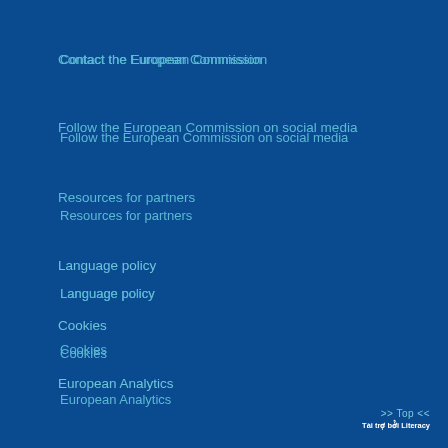Contact the European Commission
Follow the European Commission on social media
Resources for partners
Language policy
Cookies
European Analytics
Privacy policy
Privacy statement
Legal notice
>> Top << Tài trợ bởi Literacy